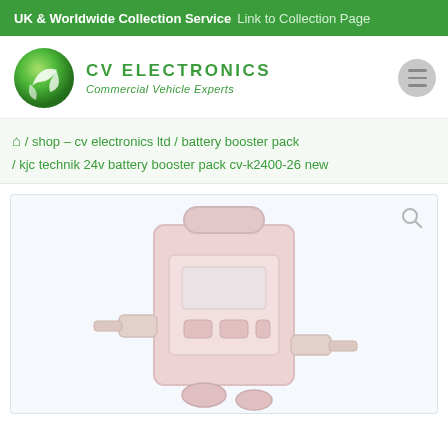UK & Worldwide Collection Service  Link to Collection Page
[Figure (logo): CV Electronics logo — green sphere with white swirl, beside green text 'CV ELECTRONICS' and italic 'Commercial Vehicle Experts']
⌂ / shop – cv electronics ltd / battery booster pack / kjc technik 24v battery booster pack cv-k2400-26 new
[Figure (photo): Product photo of a KJC Technik 24V battery booster pack, shown in pale pink/red tones, with a carry handle and cables, on a light background. A magnifying glass search icon appears in the top right corner.]